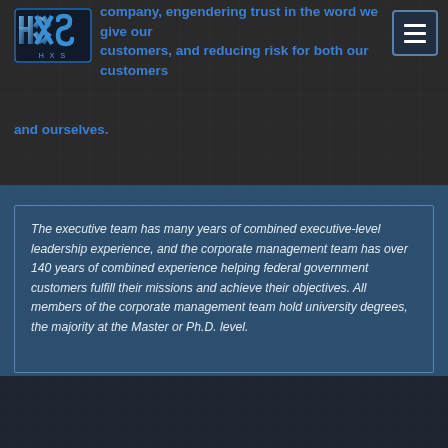[Figure (logo): HXS company logo with blue metallic letters on dark background]
company, engendering trust in the word we give our customers, and reducing risk for both our customers and ourselves.
The executive team has many years of combined executive-level leadership experience, and the corporate management team has over 140 years of combined experience helping federal government customers fulfill their missions and achieve their objectives. All members of the corporate management team hold university degrees, the majority at the Master or Ph.D. level.